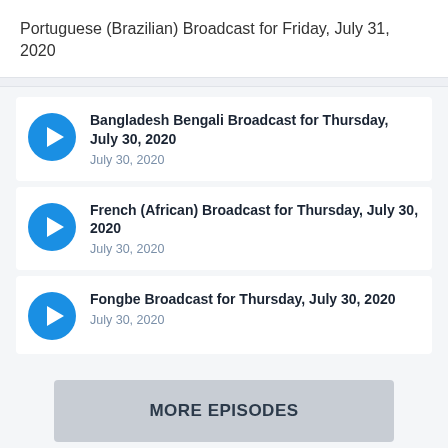Portuguese (Brazilian) Broadcast for Friday, July 31, 2020
Bangladesh Bengali Broadcast for Thursday, July 30, 2020 — July 30, 2020
French (African) Broadcast for Thursday, July 30, 2020 — July 30, 2020
Fongbe Broadcast for Thursday, July 30, 2020 — July 30, 2020
MORE EPISODES